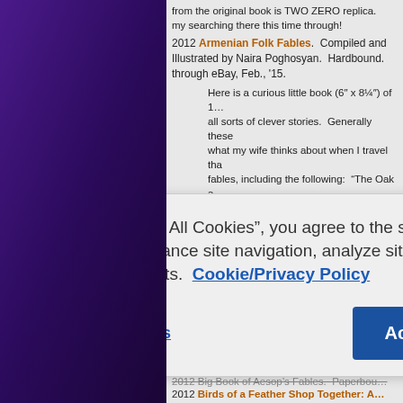from the original book is TWO ZERO replica. my searching there this time through!
2012 Armenian Folk Fables. Compiled and Illustrated by Naira Poghosyan. Hardbound. through eBay, Feb., '15.
Here is a curious little book (6" x 8¼") of 1… all sorts of clever stories. Generally these… what my wife thinks about when I travel tha… fables, including the following: "The Oak a… Tongue Is the Sweetest and the Bitterest"… Prefers the Level" (73); "The Pig and the S…
By clicking “Accept All Cookies”, you agree to the storing of cookies on your device to enhance site navigation, analyze site usage, and assist in our marketing efforts. Cookie/Privacy Policy
Cookies Settings
Accept All Cookies
2012 Big Book of Aesop's Fables. Paperbou…
2012 Birds of a Feather Shop Together: A…